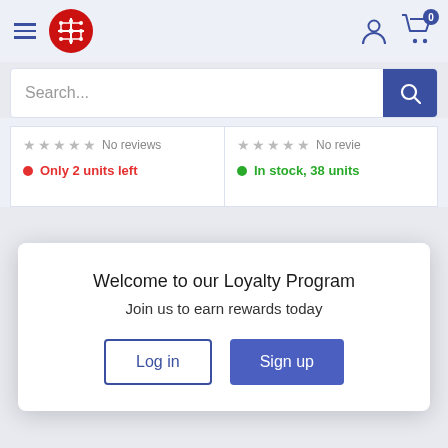[Figure (logo): Red circular logo with white circuit board traces pattern]
Search...
No reviews
Only 2 units left
No revie...
In stock, 38 units
Welcome to our Loyalty Program
Join us to earn rewards today
Log in
Sign up